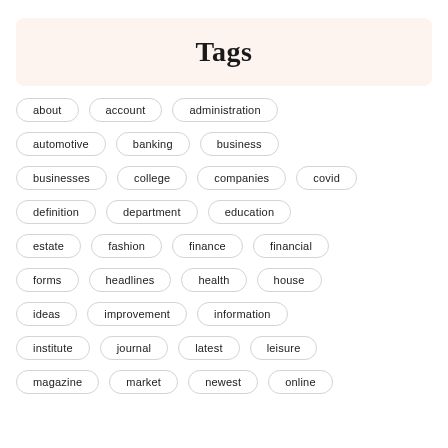Tags
about
account
administration
automotive
banking
business
businesses
college
companies
covid
definition
department
education
estate
fashion
finance
financial
forms
headlines
health
house
ideas
improvement
information
institute
journal
latest
leisure
magazine
market
newest
online